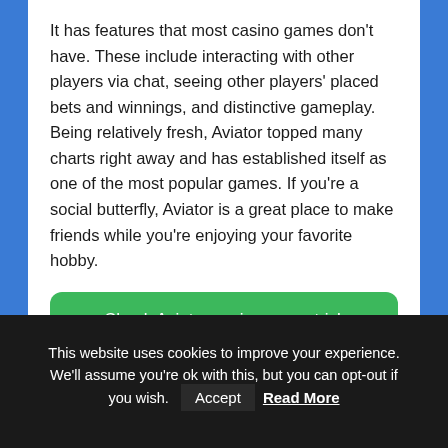It has features that most casino games don't have. These include interacting with other players via chat, seeing other players' placed bets and winnings, and distinctive gameplay. Being relatively fresh, Aviator topped many charts right away and has established itself as one of the most popular games. If you're a social butterfly, Aviator is a great place to make friends while you're enjoying your favorite hobby.
✓ Check Aviator casino game tricks below!
This website uses cookies to improve your experience. We'll assume you're ok with this, but you can opt-out if you wish. Accept Read More